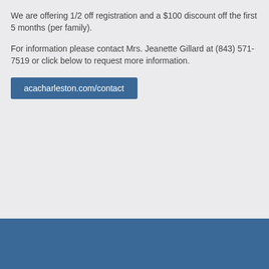We are offering 1/2 off registration and a $100 discount off the first 5 months (per family).
For information please contact Mrs. Jeanette Gillard at (843) 571-7519 or click below to request more information.
acacharleston.com/contact